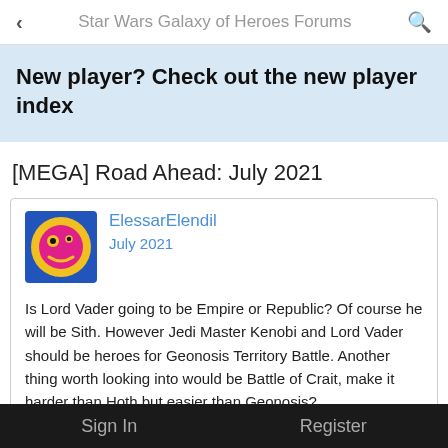Star Wars Galaxy of Heroes Forums
New player? Check out the new player index
[MEGA] Road Ahead: July 2021
ElessarElendil
July 2021

Is Lord Vader going to be Empire or Republic? Of course he will be Sith. However Jedi Master Kenobi and Lord Vader should be heroes for Geonosis Territory Battle. Another thing worth looking into would be Battle of Crait, make it harder than Hoth but easier than Geonosis?
Sign In    Register